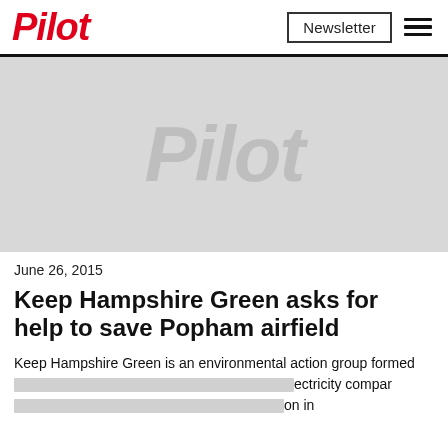Pilot | Newsletter
[Figure (logo): Pilot magazine logo watermark on grey placeholder image background]
June 26, 2015
Keep Hampshire Green asks for help to save Popham airfield
Keep Hampshire Green is an environmental action group formed [redacted] ectricity compar [redacted] on in